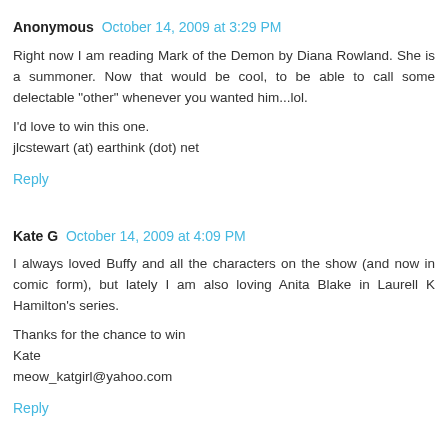Anonymous October 14, 2009 at 3:29 PM
Right now I am reading Mark of the Demon by Diana Rowland. She is a summoner. Now that would be cool, to be able to call some delectable "other" whenever you wanted him...lol.

I'd love to win this one.
jlcstewart (at) earthink (dot) net
Reply
Kate G October 14, 2009 at 4:09 PM
I always loved Buffy and all the characters on the show (and now in comic form), but lately I am also loving Anita Blake in Laurell K Hamilton's series.

Thanks for the chance to win
Kate
meow_katgirl@yahoo.com
Reply